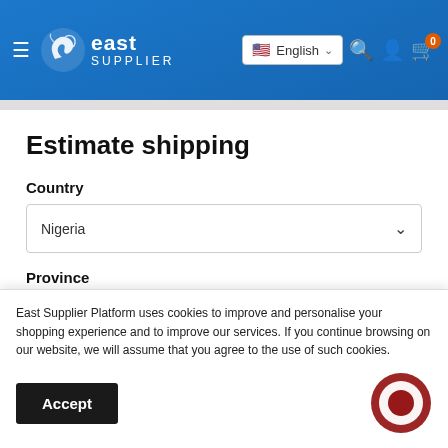East Supplier — English header navigation with hamburger menu, logo, language selector (English), search, account, and cart (0) icons
Estimate shipping
Country
Nigeria
Province
Abia
East Supplier Platform uses cookies to improve and personalise your shopping experience and to improve our services. If you continue browsing on our website, we will assume that you agree to the use of such cookies.
Accept